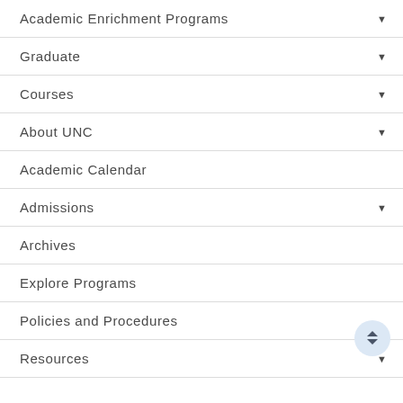Academic Enrichment Programs
Graduate
Courses
About UNC
Academic Calendar
Admissions
Archives
Explore Programs
Policies and Procedures
Resources